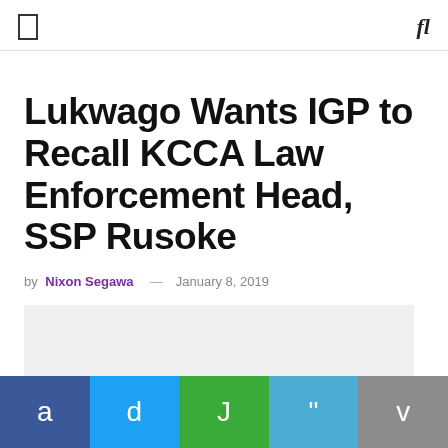fl
Lukwago Wants IGP to Recall KCCA Law Enforcement Head, SSP Rusoke
by Nixon Segawa — January 8, 2019
[Figure (photo): Article image placeholder (light gray background)]
Social share bar with icons: a (Facebook), d (Twitter), J (Google+), " (Quote), v (More)